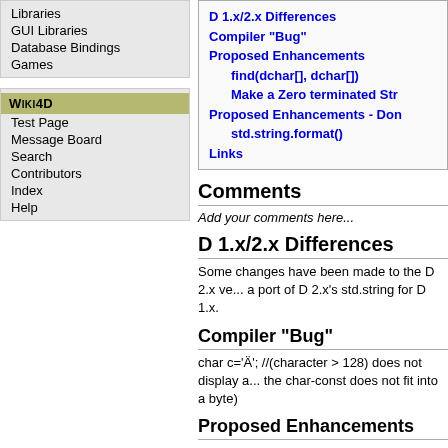Libraries
GUI Libraries
Database Bindings
Games
Wiki4D
Test Page
Message Board
Search
Contributors
Index
Help
D 1.x/2.x Differences
Compiler "Bug"
Proposed Enhancements
    find(dchar[], dchar[])
    Make a Zero terminated Str...
Proposed Enhancements - Don...
    std.string.format()
Links
Comments
Add your comments here...
D 1.x/2.x Differences
Some changes have been made to the D 2.x ve... a port of D 2.x's std.string for D 1.x.
Compiler "Bug"
char c='Ä'; //(character > 128) does not display a... the char-const does not fit into a byte)
Proposed Enhancements